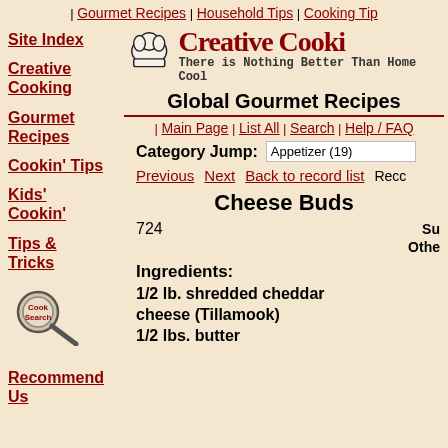| Gourmet Recipes | Household Tips | Cooking Tips
[Figure (logo): Chef hat icon with Creative Cooking logo text and tagline: There is Nothing Better Than Home Cooking]
Global Gourmet Recipes
| Main Page | List All | Search | Help / FAQ
Category Jump: Appetizer (19)
Previous  Next  Back to record list  Reco...
Cheese Buds
724
Su... Othe...
[Figure (illustration): Magnifying glass icon with Cook Search label]
Ingredients:
1/2 lb. shredded cheddar cheese (Tillamook)
1/2 lbs. butter
Site Index
Creative Cooking
Gourmet Recipes
Cookin' Tips
Kids' Cookin'
Tips & Tricks
Recommend Us